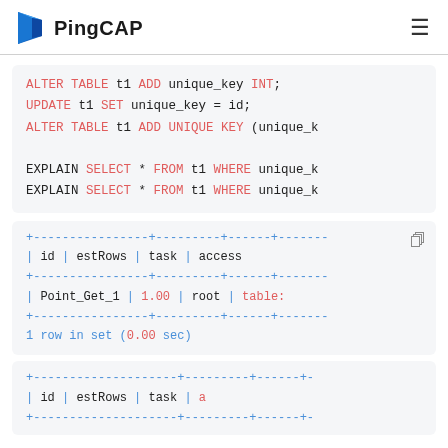PingCAP
ALTER TABLE t1 ADD unique_key INT;
UPDATE t1 SET unique_key = id;
ALTER TABLE t1 ADD UNIQUE KEY (unique_k...

EXPLAIN SELECT * FROM t1 WHERE unique_k...
EXPLAIN SELECT * FROM t1 WHERE unique_k...
+----------------+---------+------+-------
| id             | estRows | task | access
+----------------+---------+------+-------
| Point_Get_1    | 1.00    | root | table:
+----------------+---------+------+-------
1 row in set (0.00 sec)
+--------------------+---------+------+-
| id                 | estRows | task |
+--------------------+---------+------+-